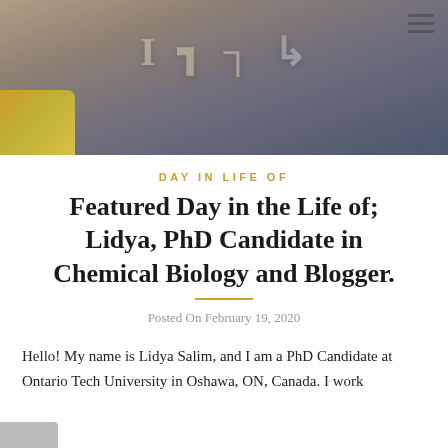[Figure (photo): Blurred hero banner photo of a laboratory or classroom interior with muted browns, grays, and a yellow accent in the lower left corner. A hamburger menu icon is visible in the top right.]
DAY IN LIFE OF
Featured Day in the Life of; Lidya, PhD Candidate in Chemical Biology and Blogger.
Posted On February 19, 2020
Hello! My name is Lidya Salim, and I am a PhD Candidate at Ontario Tech University in Oshawa, ON, Canada. I work